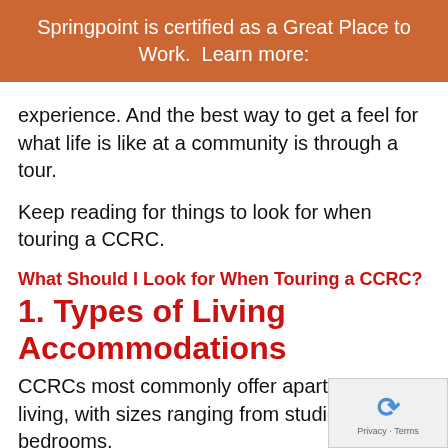Springpoint is certified as a Great Place to Work.  Learn more:
experience. And the best way to get a feel for what life is like at a community is through a tour.
Keep reading for things to look for when touring a CCRC.
What Should I Look for When Touring a CCRC?
1. Types of Living Accommodations
CCRCs most commonly offer apartment-style living, with sizes ranging from studios to two-bedrooms,